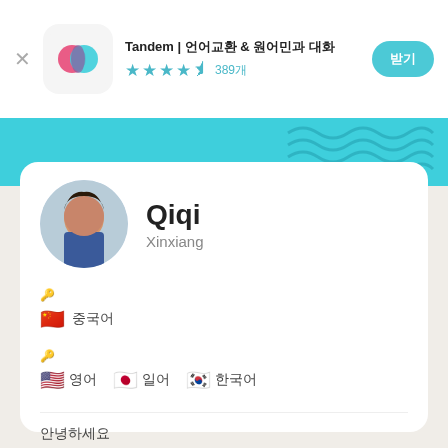[Figure (screenshot): App store header with Tandem app icon (pink and teal overlapping circles), app title 'Tandem | 언어교환 & 원어민과 대화', 4.5 star rating with 389 reviews, and a teal 'get' button]
[Figure (screenshot): Profile card showing user Qiqi from Xinxiang with profile photo, native language Chinese flag, and learning languages: English, Japanese, Korean]
Qiqi
Xinxiang
🇨🇳 母語
🇺🇸 영어  🇯🇵 일어  🇰🇷 한국어
안녕하세요